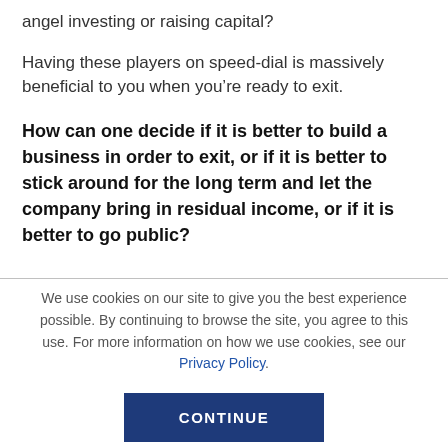angel investing or raising capital?
Having these players on speed-dial is massively beneficial to you when you’re ready to exit.
How can one decide if it is better to build a business in order to exit, or if it is better to stick around for the long term and let the company bring in residual income, or if it is better to go public?
We use cookies on our site to give you the best experience possible. By continuing to browse the site, you agree to this use. For more information on how we use cookies, see our Privacy Policy.
CONTINUE